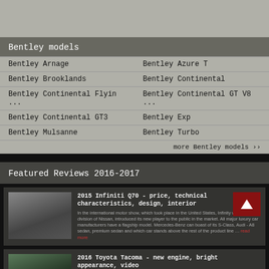[Figure (photo): Top grey image area placeholder for a car or banner image]
Bentley models
| Bentley Arnage | Bentley Azure T |
| Bentley Brooklands | Bentley Continental |
| Bentley Continental Flyin ... | Bentley Continental GT V8 ... |
| Bentley Continental GT3 | Bentley Exp |
| Bentley Mulsanne | Bentley Turbo |
|  | more Bentley models ›› |
Featured Reviews 2016-2017
[Figure (photo): Rear view of 2015 Infiniti Q70 in dark grey]
2015 Infiniti Q70 - price, technical characteristics, design, interior
In the international motor show, which took place in the United States, Infinity which is a division of Nissan, introduced its new player to the public in the market. All major luxury car manufacturers have a flagship model. Mercedes-Benz can boast of its S-Class, Audi - A8 sedan, premium sedan and which car stands above the rest of the product line … read more
[Figure (photo): 2016 Toyota Tacoma thumbnail]
2016 Toyota Tacoma - new engine, bright appearance, video